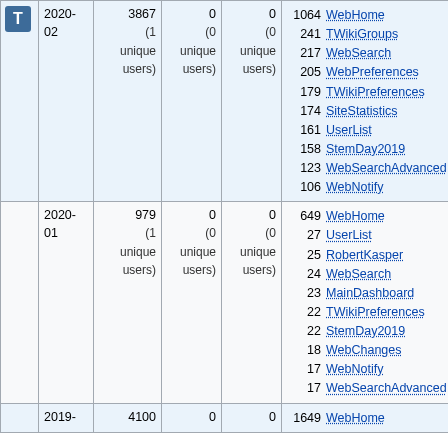|  | Date | Views | Saves | Uploads | Top10 |
| --- | --- | --- | --- | --- | --- |
| T icon | 2020-02 | 3867 (1 unique users) | 0 (0 unique users) | 0 (0 unique users) | 1064 WebHome, 241 TWikiGroups, 217 WebSearch, 205 WebPreferences, 179 TWikiPreferences, 174 SiteStatistics, 161 UserList, 158 StemDay2019, 123 WebSearchAdvanced, 106 WebNotify |
|  | 2020-01 | 979 (1 unique users) | 0 (0 unique users) | 0 (0 unique users) | 649 WebHome, 27 UserList, 25 RobertKasper, 24 WebSearch, 23 MainDashboard, 22 TWikiPreferences, 22 StemDay2019, 18 WebChanges, 17 WebNotify, 17 WebSearchAdvanced |
|  | 2019- | 4100 | 0 | 0 | 1649 WebHome |